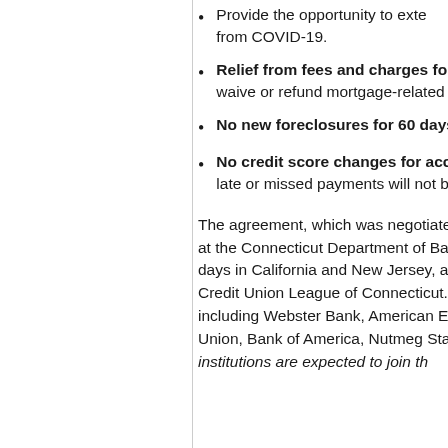Provide the opportunity to exte... from COVID-19.
Relief from fees and charges for s... waive or refund mortgage-related...
No new foreclosures for 60 days:
No credit score changes for acces... late or missed payments will not b...
The agreement, which was negotiate... at the Connecticut Department of Ba... days in California and New Jersey, an... Credit Union League of Connecticut. ... including Webster Bank, American Ea... Union, Bank of America, Nutmeg Stat... institutions are expected to join th...